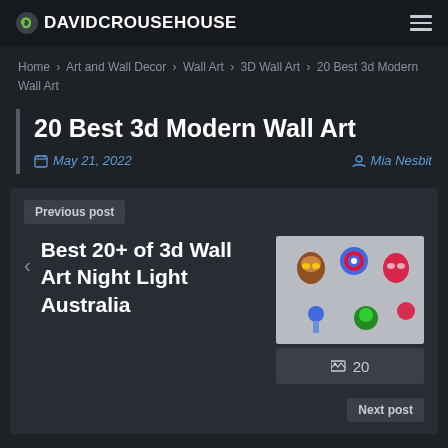DAVIDCROUSEHOUSE
Home > Art and Wall Decor > Wall Art > 3D Wall Art > 20 Best 3d Modern Wall Art
20 Best 3d Modern Wall Art
May 21, 2022  Mia Nesbit
Previous post
Best 20+ of 3d Wall Art Night Light Australia
[Figure (photo): Thumbnail image showing 3D wall art superhero masks including Iron Man, Captain America, Spider-Man, and other colorful figures on a light background]
20
Next post